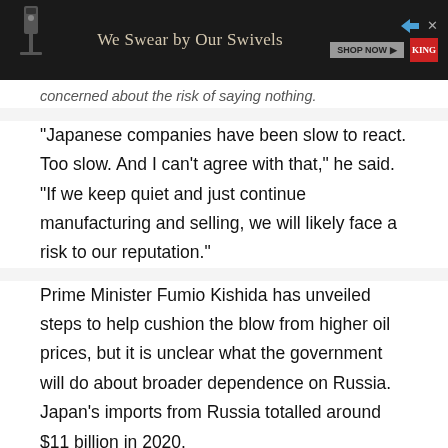[Figure (other): Advertisement banner: 'We Swear by Our Swivels' with Shop Now button, play icon, and King logo on dark background]
concerned about the risk of saying nothing.
"Japanese companies have been slow to react. Too slow. And I can't agree with that," he said. "If we keep quiet and just continue manufacturing and selling, we will likely face a risk to our reputation."
Prime Minister Fumio Kishida has unveiled steps to help cushion the blow from higher oil prices, but it is unclear what the government will do about broader dependence on Russia. Japan's imports from Russia totalled around $11 billion in 2020.
Advertisement · Scroll to continue
Feedback